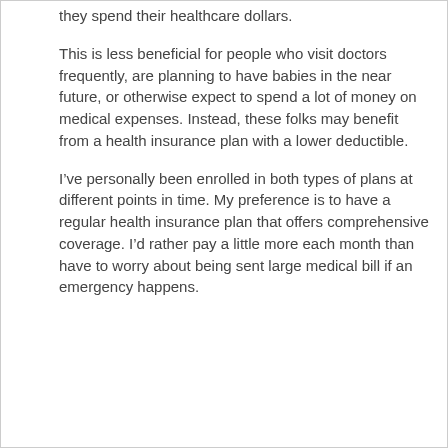they spend their healthcare dollars.
This is less beneficial for people who visit doctors frequently, are planning to have babies in the near future, or otherwise expect to spend a lot of money on medical expenses. Instead, these folks may benefit from a health insurance plan with a lower deductible.
I’ve personally been enrolled in both types of plans at different points in time. My preference is to have a regular health insurance plan that offers comprehensive coverage. I’d rather pay a little more each month than have to worry about being sent large medical bill if an emergency happens.